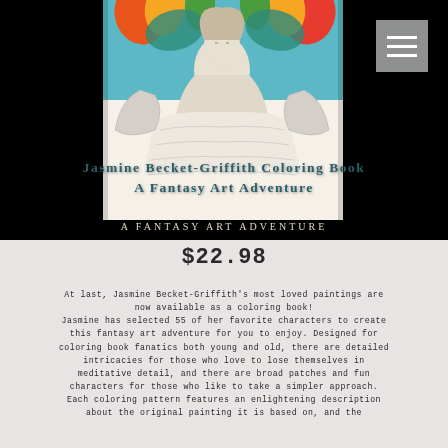[Figure (illustration): Book cover of 'Jasmine Becket-Griffith Coloring Book: A Fantasy Art Adventure' showing colorful fantasy art with a character surrounded by flowers and butterflies, displayed against a black background. A hamburger menu icon appears in the top right.]
Jasmine Becket-Griffith Coloring Book
A Fantasy Art Adventure
A FANTASY ART ADVENTURE
$22.98
At last, Jasmine Becket-Griffith's most loved paintings are now available as a coloring book! Jasmine has selected 55 of her favorite characters to create this fantasy art adventure for you to enjoy. Designed for coloring book fanatics both young and old, there are detailed intricacies for those who love to lose themselves in meditative detail, and there are broad patches and fun characters for those who like to take a simpler approach. Each coloring pattern features an enlightening description about the original painting it is based on, and the